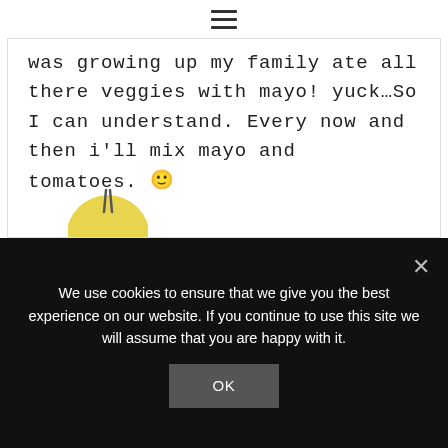≡
was growing up my family ate all there veggies with mayo! yuck…So I can understand. Every now and then i'll mix mayo and tomatoes. 🙂
Reply
[Figure (illustration): Partial yellow avatar/profile image visible at bottom of comment box]
We use cookies to ensure that we give you the best experience on our website. If you continue to use this site we will assume that you are happy with it.
OK